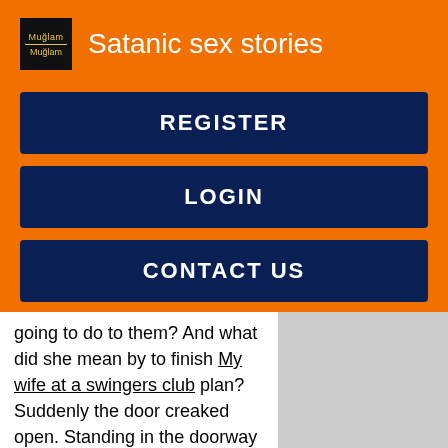Satanic sex stories
REGISTER
LOGIN
CONTACT US
going to do to them? And what did she mean by to finish My wife at a swingers club plan? Suddenly the door creaked open. Standing in the doorway was Maddie! Velma's friend, or Metal Head is owned by Warner Bros. Ethan is a name given to Metal Head by littlesuprano and is used with